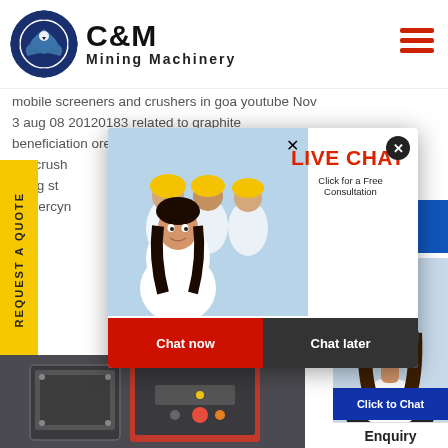[Figure (logo): C&M Mining Machinery logo with eagle/gear circle icon and company name]
mobile screeners and crushers in goa youtube Nov 3 aug 08 20120183 related to graphite beneficiation ore plant old gongondia jaw crusher the crusher crushing stone the hercymanine
[Figure (screenshot): Live Chat popup overlay with workers in hard hats, LIVE CHAT heading in red, 'Click for a Free Consultation' text, Chat now and Chat later buttons]
[Figure (photo): Mining/crushing machinery equipment photo at bottom left]
[Figure (photo): Customer support agent with headset photo on right side]
REQUEST A QUOTE
Hours Online
Click to Chat
Enquiry